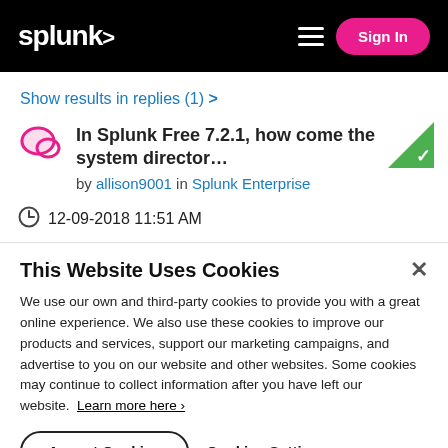splunk> [hamburger menu] [Sign In]
Show results in replies (1) >
In Splunk Free 7.2.1, how come the system director... by allison9001 in Splunk Enterprise
12-09-2018 11:51 AM
This Website Uses Cookies
We use our own and third-party cookies to provide you with a great online experience. We also use these cookies to improve our products and services, support our marketing campaigns, and advertise to you on our website and other websites. Some cookies may continue to collect information after you have left our website. Learn more here >
Accept Cookies   Cookies Settings >